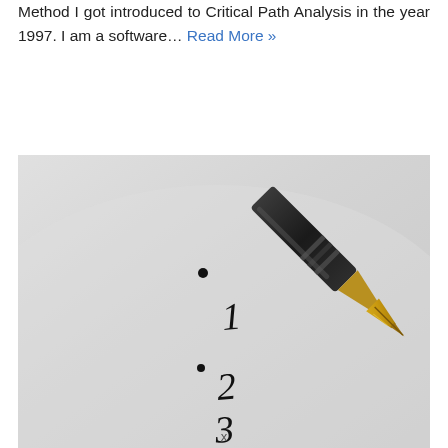Method I got introduced to Critical Path Analysis in the year 1997. I am a software… Read More »
[Figure (photo): Close-up photograph of a fountain pen nib pointing downward at a white paper surface, with handwritten numbers 1, 2, 3 written below an ink dot, suggesting step-by-step writing or a numbered list.]
x